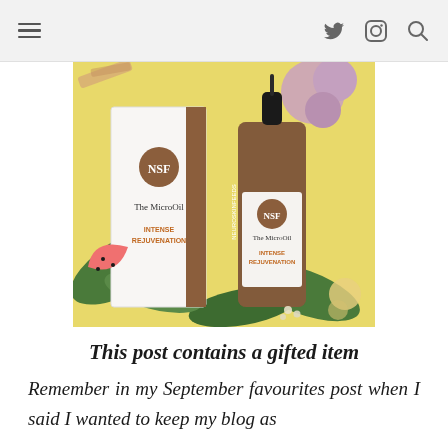Navigation bar with hamburger menu, Twitter icon, Instagram icon, Search icon
[Figure (photo): Product photo of NSF NeuroSkinFeeds The MicroOil – Intense Rejuvenation serum box and dropper bottle, styled on a yellow background with green leaves, purple flowers, pink watermelon slice, and gold sparkles]
This post contains a gifted item
Remember in my September favourites post when I said I wanted to keep my blog as